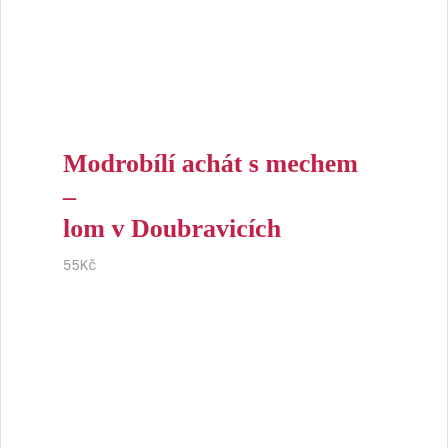Modrobílí achát s mechem – lom v Doubravicích
55Kč